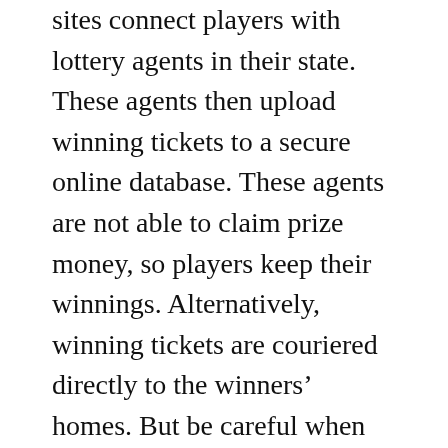sites connect players with lottery agents in their state. These agents then upload winning tickets to a secure online database. These agents are not able to claim prize money, so players keep their winnings. Alternatively, winning tickets are couriered directly to the winners' homes. But be careful when buying tickets through an agent! You may not want to bet your entire life's savings with the lottery agent.
Before buying lottery tickets, you should check that you're a US lottery subscriber. Lottery websites use geolocation software to ensure that you're in the state that offers online ticket sales. In addition to this, you must register as an individual player. The lottery provider uses